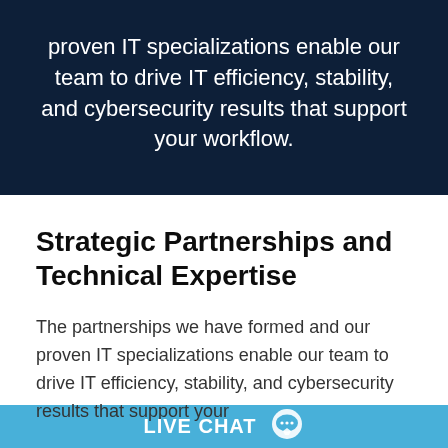proven IT specializations enable our team to drive IT efficiency, stability, and cybersecurity results that support your workflow.
Strategic Partnerships and Technical Expertise
The partnerships we have formed and our proven IT specializations enable our team to drive IT efficiency, stability, and cybersecurity results that support your
LIVE CHAT